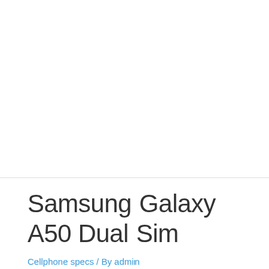Samsung Galaxy A50 Dual Sim
Cellphone specs / By admin